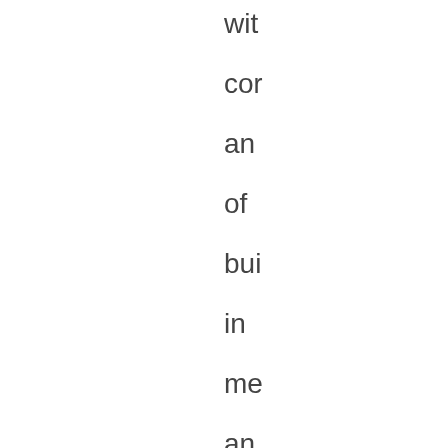wit
co
an
of
bui
in
me
an
rec
wit
the
abi
to
ad
me
via
se
m